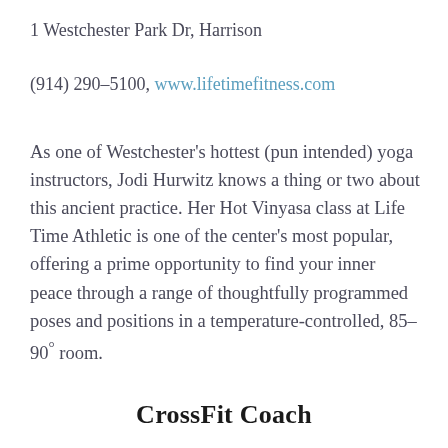1 Westchester Park Dr, Harrison
(914) 290–5100, www.lifetimefitness.com
As one of Westchester's hottest (pun intended) yoga instructors, Jodi Hurwitz knows a thing or two about this ancient practice. Her Hot Vinyasa class at Life Time Athletic is one of the center's most popular, offering a prime opportunity to find your inner peace through a range of thoughtfully programmed poses and positions in a temperature-controlled, 85–90° room.
CrossFit Coach